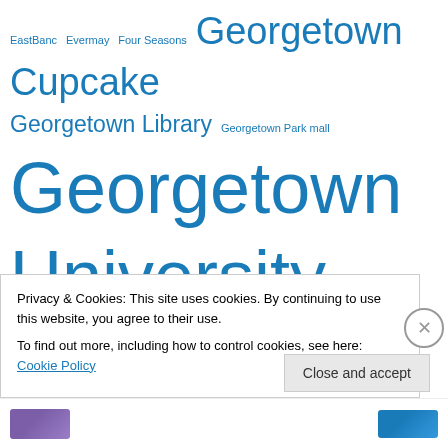[Figure (infographic): Tag cloud with Georgetown-related terms in varying font sizes, all in blue. Larger terms indicate higher frequency. Terms include: Georgetown Cupcake, Georgetown University, Georgetown Library, Georgetown Park mall, Georgetown Waterfront, Georgetown Waterfront Park, GU Ten Year Plan, Hardy School, History, Hook, Hurt Home, Hyde-Addison, Jack Evans, K St., Metrobus, Montrose Park, M St., Nathans, National Pinball Museum, N St., Old Georgetown Board, O St., Parking, Philly Pizza, Potomac River, P st., Q St., Real Estate, Retail, R St., EastBanc, Evermay, Four Seasons]
Privacy & Cookies: This site uses cookies. By continuing to use this website, you agree to their use. To find out more, including how to control cookies, see here: Cookie Policy